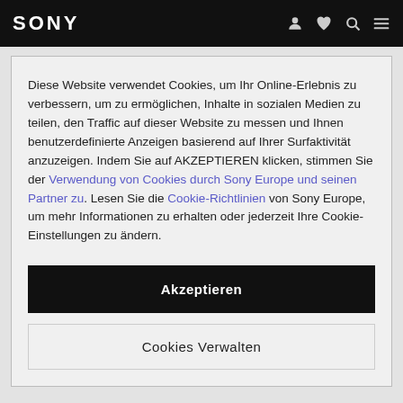SONY
Diese Website verwendet Cookies, um Ihr Online-Erlebnis zu verbessern, um zu ermöglichen, Inhalte in sozialen Medien zu teilen, den Traffic auf dieser Website zu messen und Ihnen benutzerdefinierte Anzeigen basierend auf Ihrer Surfaktivität anzuzeigen. Indem Sie auf AKZEPTIEREN klicken, stimmen Sie der Verwendung von Cookies durch Sony Europe und seinen Partner zu. Lesen Sie die Cookie-Richtlinien von Sony Europe, um mehr Informationen zu erhalten oder jederzeit Ihre Cookie-Einstellungen zu ändern.
Akzeptieren
Cookies Verwalten